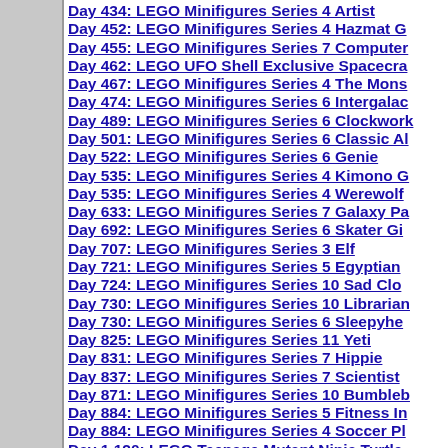Day 434: LEGO Minifigures Series 4 Artist
Day 452: LEGO Minifigures Series 4 Hazmat G
Day 455: LEGO Minifigures Series 7 Computer
Day 462: LEGO UFO Shell Exclusive Spacecra
Day 467: LEGO Minifigures Series 4 The Mons
Day 474: LEGO Minifigures Series 6 Intergalac
Day 489: LEGO Minifigures Series 6 Clockwork
Day 501: LEGO Minifigures Series 6 Classic Al
Day 522: LEGO Minifigures Series 6 Genie
Day 535: LEGO Minifigures Series 4 Kimono G
Day 535: LEGO Minifigures Series 4 Werewolf
Day 633: LEGO Minifigures Series 7 Galaxy Pa
Day 692: LEGO Minifigures Series 6 Skater Gi
Day 707: LEGO Minifigures Series 3 Elf
Day 721: LEGO Minifigures Series 5 Egyptian
Day 724: LEGO Minifigures Series 10 Sad Clo
Day 730: LEGO Minifigures Series 10 Librarian
Day 730: LEGO Minifigures Series 6 Sleepyhe
Day 825: LEGO Minifigures Series 11 Yeti
Day 831: LEGO Minifigures Series 7 Hippie
Day 837: LEGO Minifigures Series 7 Scientist
Day 871: LEGO Minifigures Series 10 Bumbleb
Day 884: LEGO Minifigures Series 5 Fitness In
Day 884: LEGO Minifigures Series 4 Soccer Pl
Day 1,120: LEGO Teenage Mutant Ninja Turtle